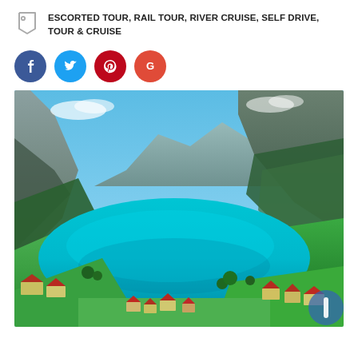ESCORTED TOUR, RAIL TOUR, RIVER CRUISE, SELF DRIVE, TOUR & CRUISE
[Figure (illustration): Four social media share buttons in circles: Facebook (dark blue), Twitter (light blue), Pinterest (dark red), Google (orange-red)]
[Figure (photo): Aerial landscape photo of a Swiss Alpine lake scene with brilliant turquoise water, green valley meadows, Alpine village with red-roofed houses, and steep mountain slopes with forests in the background under a blue sky.]